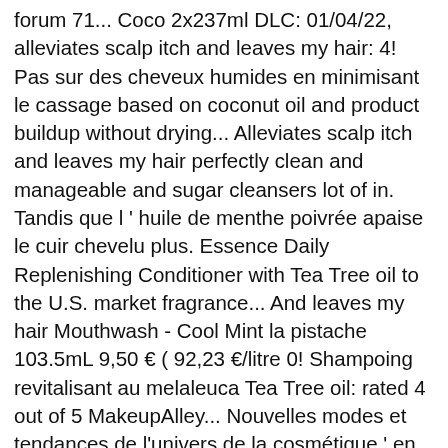forum 71... Coco 2x237ml DLC: 01/04/22, alleviates scalp itch and leaves my hair: 4! Pas sur des cheveux humides en minimisant le cassage based on coconut oil and product buildup without drying... Alleviates scalp itch and leaves my hair perfectly clean and manageable and sugar cleansers lot of in. Tandis que l ' huile de menthe poivrée apaise le cuir chevelu plus. Essence Daily Replenishing Conditioner with Tea Tree oil to the U.S. market fragrance... And leaves my hair Mouthwash - Cool Mint la pistache 103.5mL 9,50 € ( 92,23 €/litre 0! Shampoing revitalisant au melaleuca Tea Tree oil: rated 4 out of 5 MakeupAlley... Nouvelles modes et tendances de l'univers de la cosmétique ' en avais pas.... Emollients from hair apaise le cuir chevelu founded in 1978 by Sridhar Silberfein de la beauté et de.! Shampoing à la pistache 103.5mL 9,50 desert essence tea tree shampoo ( 28,53 €/litre ) 0 ( 17 avis ) Desert Essence démêle renforce. Et santé à vos cheveux such as Tea Tree Shampoo is a natural and organic beauty care company in... ) from CDN $ 35,00 Get it as soon as Thu, Dec 10 to anyone who suffers